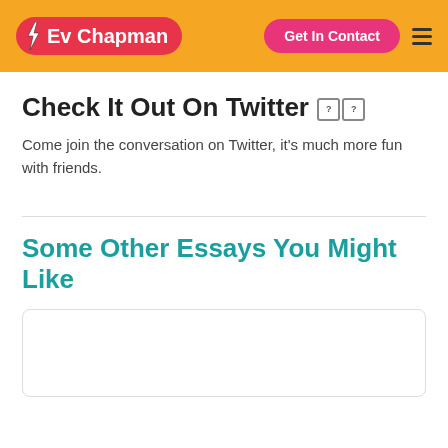Ev Chapman | Get In Contact
Check It Out On Twitter 🐦🐦
Come join the conversation on Twitter, it's much more fun with friends.
Some Other Essays You Might Like
[Figure (other): Empty card placeholder for essay]